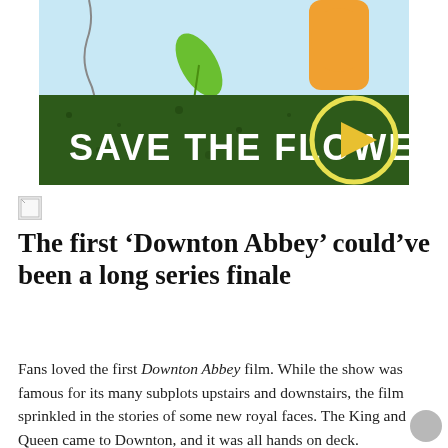[Figure (illustration): Advertisement banner showing animated characters with text 'SAVE THE FLOWER' on a dark green background with a play button circle]
[Figure (photo): Small broken/placeholder image icon]
The first ‘Downton Abbey’ could’ve been a long series finale
Fans loved the first Downton Abbey film. While the show was famous for its many subplots upstairs and downstairs, the film sprinkled in the stories of some new royal faces. The King and Queen came to Downton, and it was all hands on deck.